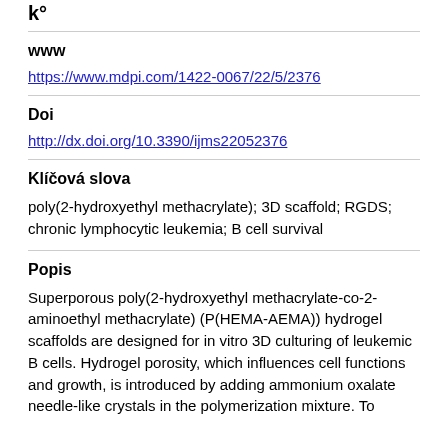k°
www
https://www.mdpi.com/1422-0067/22/5/2376
Doi
http://dx.doi.org/10.3390/ijms22052376
Klíčová slova
poly(2-hydroxyethyl methacrylate); 3D scaffold; RGDS; chronic lymphocytic leukemia; B cell survival
Popis
Superporous poly(2-hydroxyethyl methacrylate-co-2-aminoethyl methacrylate) (P(HEMA-AEMA)) hydrogel scaffolds are designed for in vitro 3D culturing of leukemic B cells. Hydrogel porosity, which influences cell functions and growth, is introduced by adding ammonium oxalate needle-like crystals in the polymerization mixture. To